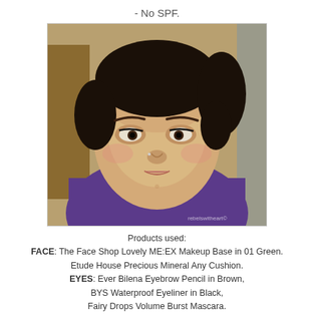- No SPF.
[Figure (photo): Selfie of a woman with short dark hair, wearing a purple t-shirt, with makeup on, photographed indoors.]
Products used:
FACE: The Face Shop Lovely ME:EX Makeup Base in 01 Green.
Etude House Precious Mineral Any Cushion.
EYES: Ever Bilena Eyebrow Pencil in Brown,
BYS Waterproof Eyeliner in Black,
Fairy Drops Volume Burst Mascara.